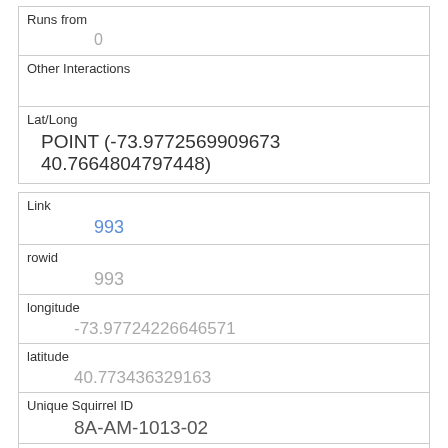| Runs from | 0 |
| Other Interactions |  |
| Lat/Long | POINT (-73.9772569909673 40.7664804797448) |
| Link | 993 |
| rowid | 993 |
| longitude | -73.97724226646571 |
| latitude | 40.773436329163 |
| Unique Squirrel ID | 8A-AM-1013-02 |
| Hectare | 08A |
| Shift | AM |